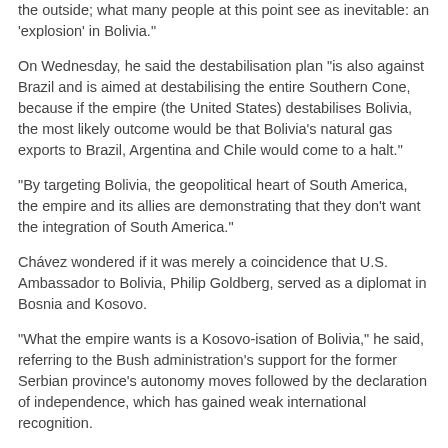the outside; what many people at this point see as inevitable: an 'explosion' in Bolivia."
On Wednesday, he said the destabilisation plan "is also against Brazil and is aimed at destabilising the entire Southern Cone, because if the empire (the United States) destabilises Bolivia, the most likely outcome would be that Bolivia's natural gas exports to Brazil, Argentina and Chile would come to a halt."
"By targeting Bolivia, the geopolitical heart of South America, the empire and its allies are demonstrating that they don't want the integration of South America."
Chávez wondered if it was merely a coincidence that U.S. Ambassador to Bolivia, Philip Goldberg, served as a diplomat in Bosnia and Kosovo.
"What the empire wants is a Kosovo-isation of Bolivia," he said, referring to the Bush administration's support for the former Serbian province's autonomy moves followed by the declaration of independence, which has gained weak international recognition.